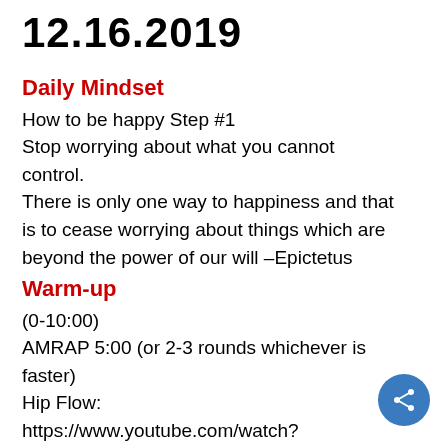12.16.2019
Daily Mindset
How to be happy Step #1
Stop worrying about what you cannot control.
There is only one way to happiness and that is to cease worrying about things which are beyond the power of our will –Epictetus
Warm-up
(0-10:00)
AMRAP 5:00 (or 2-3 rounds whichever is faster)
Hip Flow:
https://www.youtube.com/watch?v=Yo55p6k0oIA&feature=youtu.be